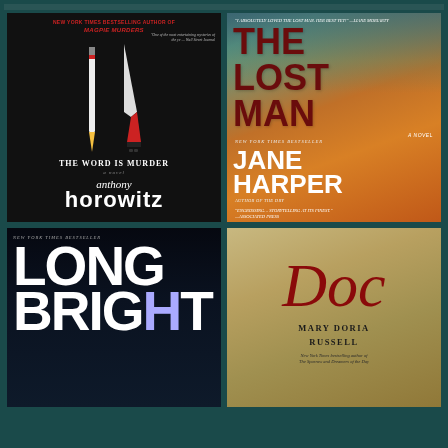[Figure (photo): Book cover: The Word is Murder by Anthony Horowitz. Dark background with pencil and knife imagery. Text: NEW YORK TIMES BESTSELLING AUTHOR OF MAGPIE MURDERS. THE WORD IS MURDER. A NOVEL. anthony horowitz.]
[Figure (photo): Book cover: The Lost Man by Jane Harper. Orange and teal background with close-up of woman's eye. Text: THE LOST MAN. A NOVEL. NEW YORK TIMES BESTSELLER. JANE HARPER. AUTHOR OF THE DRY. Quotes from Liane Moriarty and Associated Press.]
[Figure (photo): Book cover: Long Bright (partial) - dark teal/navy background. NEW YORK TIMES BESTSELLER. LONG BRIGHT in large white text.]
[Figure (photo): Book cover: Doc by Mary Doria Russell. Warm sepia/golden tones. Doc in large red italic script. MARY DORIA RUSSELL. New York Times bestselling author subtitle.]